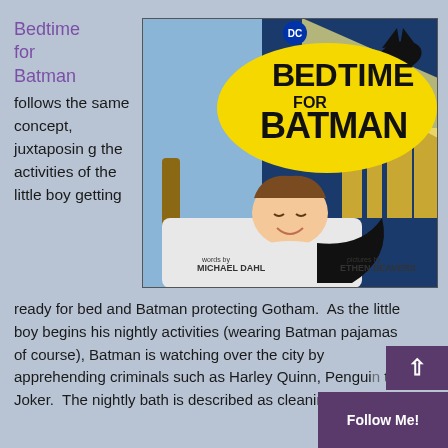Bedtime for Batman
follows the same concept, juxtaposing the activities of the little boy getting ready for bed and Batman protecting Gotham.  As the little boy begins his nightly activities (wearing Batman pajamas of course), Batman is watching over the city by apprehending criminals such as Harley Quinn, Pengui[n,] the Joker.  The nightly bath is described as cleanin[g...]
[Figure (illustration): Book cover of 'Bedtime for Batman' by Michael Dahl, illustrated by Ethen Beavers. Shows a cartoon boy in pajamas with a Batman cape, lying in bed, with a cityscape and the Batman signal in the background. Yellow oval logo with black text 'BEDTIME FOR BATMAN'.]